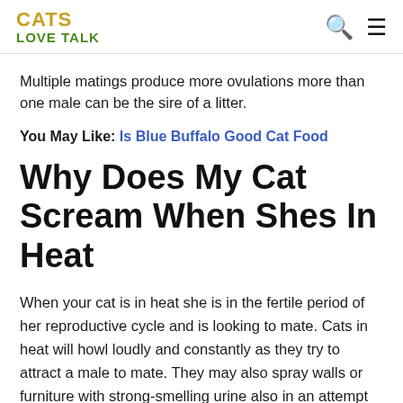CATS LOVE TALK
Multiple matings produce more ovulations more than one male can be the sire of a litter.
You May Like: Is Blue Buffalo Good Cat Food
Why Does My Cat Scream When Shes In Heat
When your cat is in heat she is in the fertile period of her reproductive cycle and is looking to mate. Cats in heat will howl loudly and constantly as they try to attract a male to mate. They may also spray walls or furniture with strong-smelling urine also in an attempt to indicate their availability to males.